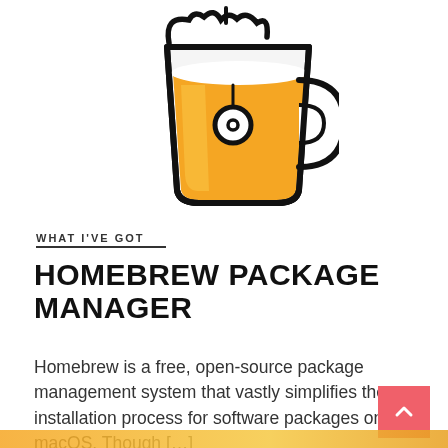[Figure (illustration): Homebrew beer mug logo — a cartoon golden beer mug with a handle and a tag, outlined in black, with amber/golden liquid fill and white foam at top.]
WHAT I'VE GOT
HOMEBREW PACKAGE MANAGER
Homebrew is a free, open-source package management system that vastly simplifies the installation process for software packages on macOS. Though […]